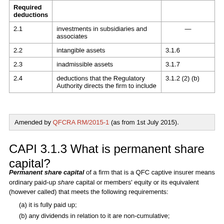|  |  |  |
| --- | --- | --- |
| Required deductions |  |  |
| 2.1 | investments in subsidiaries and associates | — |
| 2.2 | intangible assets | 3.1.6 |
| 2.3 | inadmissible assets | 3.1.7 |
| 2.4 | deductions that the Regulatory Authority directs the firm to include | 3.1.2 (2) (b) |
Amended by QFCRA RM/2015-1 (as from 1st July 2015).
CAPI 3.1.3 What is permanent share capital?
Permanent share capital of a firm that is a QFC captive insurer means ordinary paid-up share capital or members' equity or its equivalent (however called) that meets the following requirements:
(a) it is fully paid up;
(b) any dividends in relation to it are non-cumulative;
(c) it is available to absorb losses on a going concern basis;